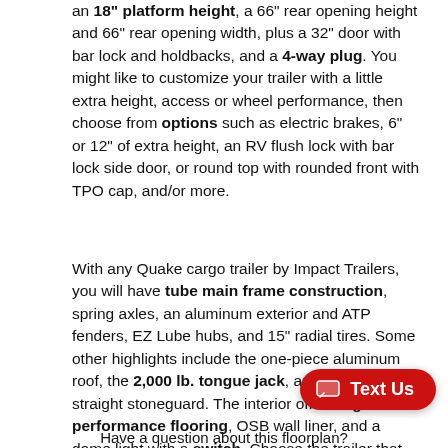an 18" platform height, a 66" rear opening height and 66" rear opening width, plus a 32" door with bar lock and holdbacks, and a 4-way plug. You might like to customize your trailer with a little extra height, access or wheel performance, then choose from options such as electric brakes, 6" or 12" of extra height, an RV flush lock with bar lock side door, or round top with rounded front with TPO cap, and/or more.
With any Quake cargo trailer by Impact Trailers, you will have tube main frame construction, spring axles, an aluminum exterior and ATP fenders, EZ Lube hubs, and 15" radial tires. Some other highlights include the one-piece aluminum roof, the 2,000 lb. tongue jack, and the 16" straight stoneguard. The interior offers high performance flooring, OSB wall liner, and a dome light with a switch. Choose the trailer that fits your workload, an...
Have a question about this floorplan?